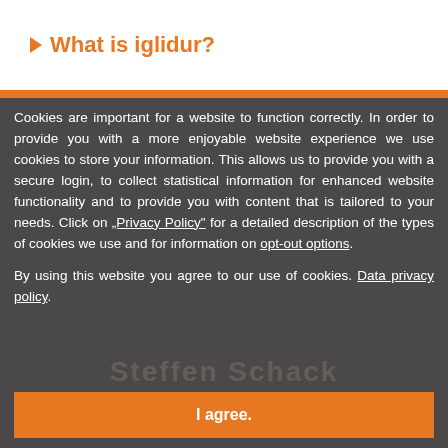What is iglidur?
Cookies are important for a website to function correctly. In order to provide you with a more enjoyable website experience we use cookies to store your information. This allows us to provide you with a secure login, to collect statistical information for enhanced website functionality and to provide you with content that is tailored to your needs. Click on „Privacy Policy“ for a detailed description of the types of cookies we use and for information on opt-out options.

By using this website you agree to our use of cookies. Data privacy policy.
I agree.